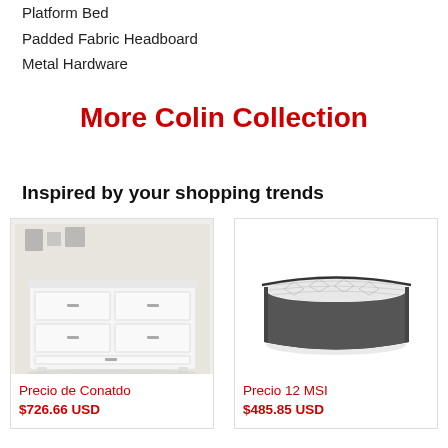Platform Bed
Padded Fabric Headboard
Metal Hardware
More Colin Collection
Inspired by your shopping trends
[Figure (photo): White dresser with multiple drawers displayed in a bedroom setting]
Precio de Conatdo
$726.66 USD
[Figure (photo): White and black mattress product photo]
Precio 12 MSI
$485.85 USD